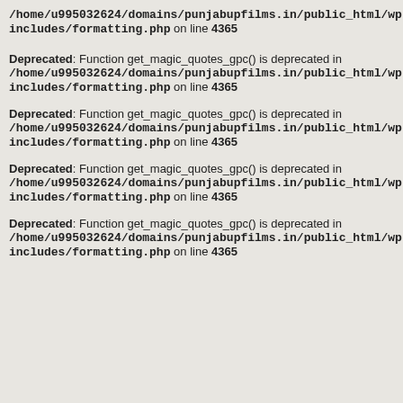/home/u995032624/domains/punjabupfilms.in/public_html/wp-includes/formatting.php on line 4365
Deprecated: Function get_magic_quotes_gpc() is deprecated in /home/u995032624/domains/punjabupfilms.in/public_html/wp-includes/formatting.php on line 4365
Deprecated: Function get_magic_quotes_gpc() is deprecated in /home/u995032624/domains/punjabupfilms.in/public_html/wp-includes/formatting.php on line 4365
Deprecated: Function get_magic_quotes_gpc() is deprecated in /home/u995032624/domains/punjabupfilms.in/public_html/wp-includes/formatting.php on line 4365
Deprecated: Function get_magic_quotes_gpc() is deprecated in /home/u995032624/domains/punjabupfilms.in/public_html/wp-includes/formatting.php on line 4365